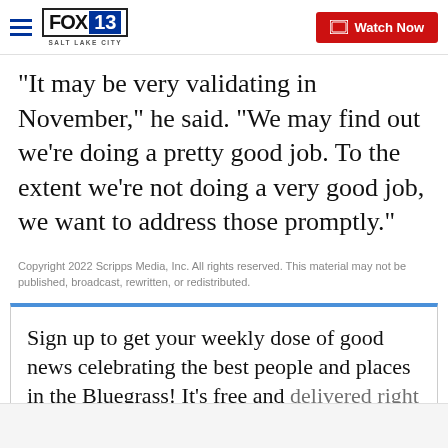FOX 13 SALT LAKE CITY | Watch Now
"It may be very validating in November," he said. "We may find out we're doing a pretty good job. To the extent we're not doing a very good job, we want to address those promptly."
Copyright 2022 Scripps Media, Inc. All rights reserved. This material may not be published, broadcast, rewritten, or redistributed.
Sign up to get your weekly dose of good news celebrating the best people and places in the Bluegrass! It's free and delivered right to your inbox.